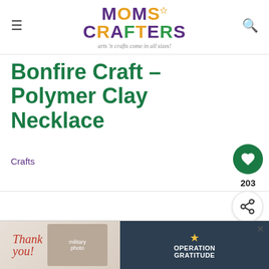Moms & Crafters — arts 'n crafts come in all sizes!
Bonfire Craft – Polymer Clay Necklace
Crafts
203
Sharing is caring!
202 SHARES
WHAT'S NEXT → Branch Necklace –...
[Figure (photo): Advertisement banner with 'Thank you' handwritten text alongside military photo and Operation Gratitude logo]